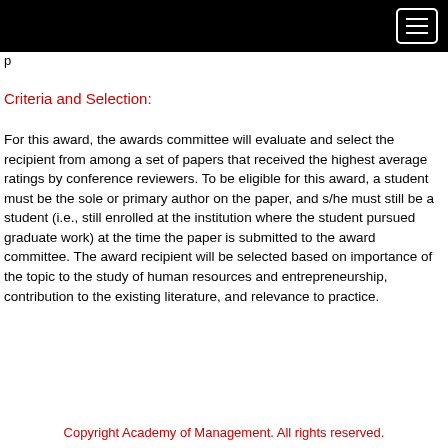p
Criteria and Selection:
For this award, the awards committee will evaluate and select the recipient from among a set of papers that received the highest average ratings by conference reviewers. To be eligible for this award, a student must be the sole or primary author on the paper, and s/he must still be a student (i.e., still enrolled at the institution where the student pursued graduate work) at the time the paper is submitted to the award committee. The award recipient will be selected based on importance of the topic to the study of human resources and entrepreneurship, contribution to the existing literature, and relevance to practice.
Copyright Academy of Management. All rights reserved.